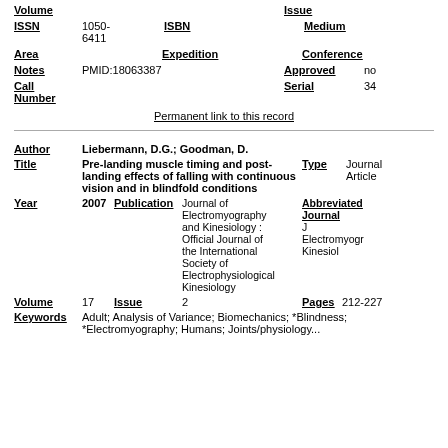| Field | Value | Field2 | Value2 |
| --- | --- | --- | --- |
| Volume |  | Issue |  |
| ISSN | 1050-6411 | ISBN | Medium |  |
| Area |  | Expedition |  | Conference |  |
| Notes | PMID:18063387 | Approved | no |
| Call Number |  | Serial | 34 |
Permanent link to this record
| Field | Value | Field2 | Value2 |
| --- | --- | --- | --- |
| Author | Liebermann, D.G.; Goodman, D. |  |  |
| Title | Pre-landing muscle timing and post-landing effects of falling with continuous vision and in blindfold conditions | Type | Journal Article |
| Year | 2007 | Publication | Journal of Electromyography and Kinesiology : Official Journal of the International Society of Electrophysiological Kinesiology | Abbreviated Journal | J Electromyogr Kinesiol |
| Volume | 17 | Issue | 2 | Pages | 212-227 |
| Keywords | Adult; Analysis of Variance; Biomechanics; *Blindness; *Electromyography; Humans; Joints/physiology... |  |  |